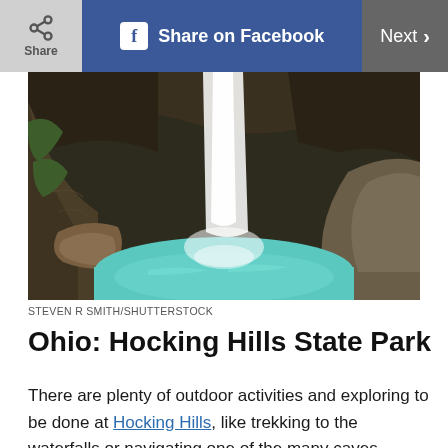Share | Share on Facebook | Next >
[Figure (photo): Waterfall flowing into a turquoise pool surrounded by rocky cave walls and boulders at Hocking Hills State Park]
STEVEN R SMITH/SHUTTERSTOCK
Ohio: Hocking Hills State Park
There are plenty of outdoor activities and exploring to be done at Hocking Hills, like trekking to the waterfalls or navigating one of the many caves, including Ash Cave, the largest recessed cave in Ohio. But perhaps the most exciting activity is the canopy zipline, which was dubbed one of the craziest ziplines in the world.